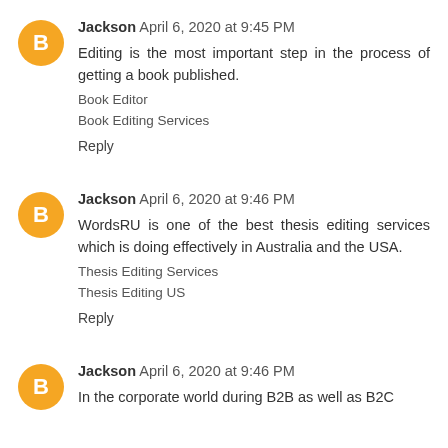Jackson April 6, 2020 at 9:45 PM
Editing is the most important step in the process of getting a book published.
Book Editor
Book Editing Services
Reply
Jackson April 6, 2020 at 9:46 PM
WordsRU is one of the best thesis editing services which is doing effectively in Australia and the USA.
Thesis Editing Services
Thesis Editing US
Reply
Jackson April 6, 2020 at 9:46 PM
In the corporate world during B2B as well as B2C